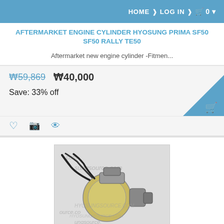HOME  >  LOG IN  >  🛒 0
AFTERMARKET ENGINE CYLINDER HYOSUNG PRIMA SF50 SF50 RALLY TE50
Aftermarket new engine cylinder -Fitmen...
₩59,869  ₩40,000
Save: 33% off
[Figure (photo): Photo of an aftermarket engine starter motor/cylinder part with black wiring, metallic gold cylindrical body, with hyosung source.com watermark overlaid]